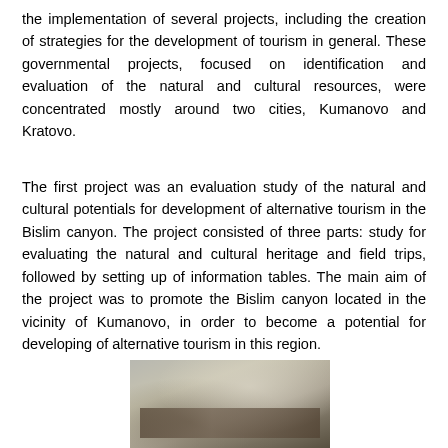the implementation of several projects, including the creation of strategies for the development of tourism in general. These governmental projects, focused on identification and evaluation of the natural and cultural resources, were concentrated mostly around two cities, Kumanovo and Kratovo.
The first project was an evaluation study of the natural and cultural potentials for development of alternative tourism in the Bislim canyon. The project consisted of three parts: study for evaluating the natural and cultural heritage and field trips, followed by setting up of information tables. The main aim of the project was to promote the Bislim canyon located in the vicinity of Kumanovo, in order to become a potential for developing of alternative tourism in this region.
[Figure (photo): A photograph of what appears to be an outdoor scene, likely Bislim canyon area, with dark and light tones suggesting trees or rocky terrain.]